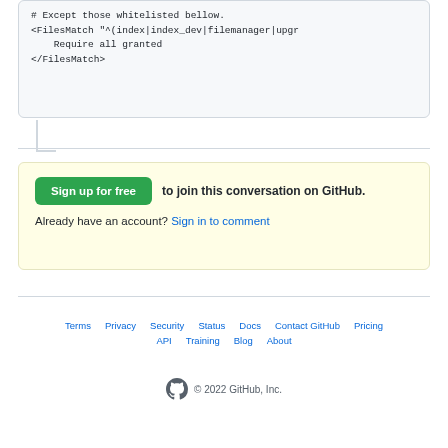# Except those whitelisted bellow.
<FilesMatch "^(index|index_dev|filemanager|upgr...
    Require all granted
</FilesMatch>
Sign up for free to join this conversation on GitHub.
Already have an account? Sign in to comment
Terms · Privacy · Security · Status · Docs · Contact GitHub · Pricing · API · Training · Blog · About
© 2022 GitHub, Inc.